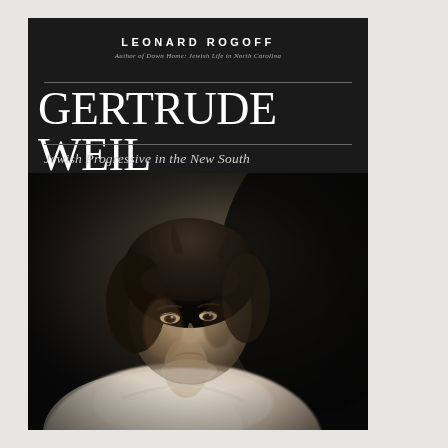LEONARD ROGOFF
Author of Down Home: Jewish Life in North Carolina
GERTRUDE WEIL
Jewish Progressive in the New South
[Figure (photo): Black and white portrait photograph of Gertrude Weil, a woman in early 20th century dress with dark hair, looking slightly to the side with a gentle expression, wearing a white lace-collared blouse, against a dark background.]